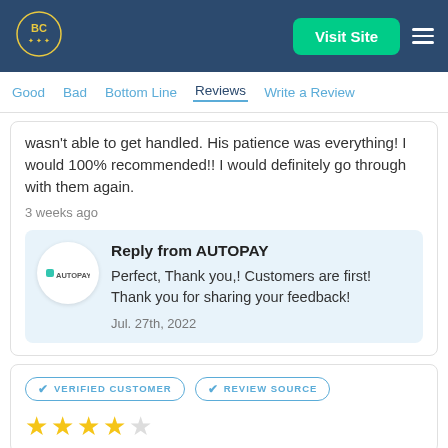BC logo | Visit Site
Good  Bad  Bottom Line  Reviews  Write a Review
wasn't able to get handled. His patience was everything! I would 100% recommended!! I would definitely go through with them again.
3 weeks ago
Reply from AUTOPAY
Perfect, Thank you,! Customers are first! Thank you for sharing your feedback!
Jul. 27th, 2022
VERIFIED CUSTOMER  REVIEW SOURCE
[Figure (other): 4 gold star rating]